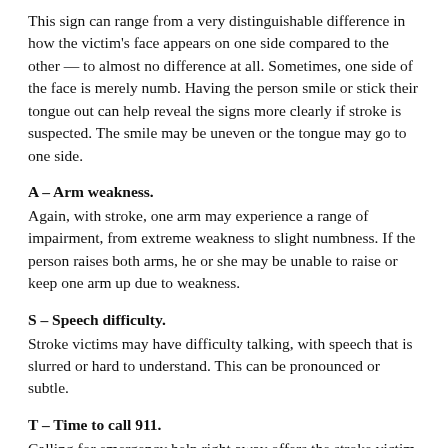This sign can range from a very distinguishable difference in how the victim's face appears on one side compared to the other — to almost no difference at all. Sometimes, one side of the face is merely numb. Having the person smile or stick their tongue out can help reveal the signs more clearly if stroke is suspected. The smile may be uneven or the tongue may go to one side.
A – Arm weakness.
Again, with stroke, one arm may experience a range of impairment, from extreme weakness to slight numbness. If the person raises both arms, he or she may be unable to raise or keep one arm up due to weakness.
S – Speech difficulty.
Stroke victims may have difficulty talking, with speech that is slurred or hard to understand. This can be pronounced or subtle.
T – Time to call 911.
Calling for emergency help right away offers the stroke victim the best chance of survival.